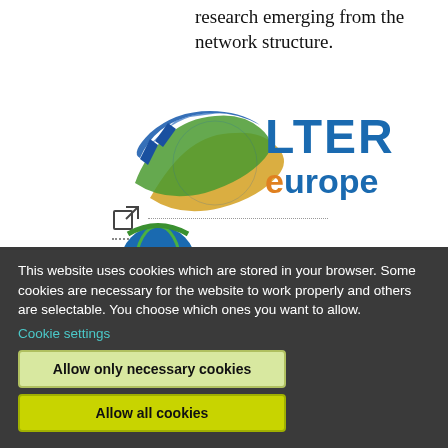research emerging from the network structure.
[Figure (logo): LTER Europe logo with stylized leaf/globe graphic and text 'LTER europe']
[Figure (logo): ILTER logo with globe graphic and text 'ILTER']
This website uses cookies which are stored in your browser. Some cookies are necessary for the website to work properly and others are selectable. You choose which ones you want to allow.
Cookie settings
Allow only necessary cookies
Allow all cookies